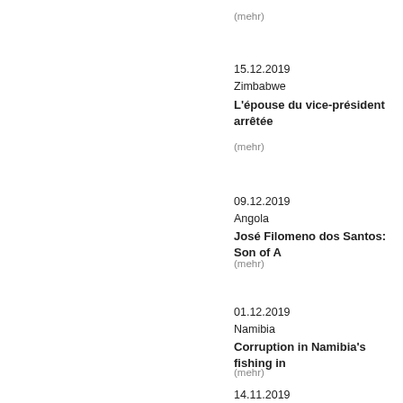(mehr)
15.12.2019
Zimbabwe
L'épouse du vice-président arrêtée
(mehr)
09.12.2019
Angola
José Filomeno dos Santos: Son of A
(mehr)
01.12.2019
Namibia
Corruption in Namibia's fishing in
(mehr)
14.11.2019